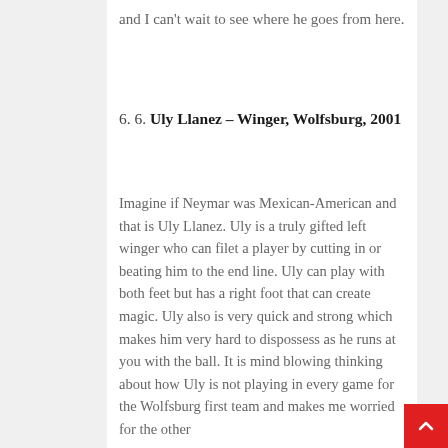and I can't wait to see where he goes from here.
6. 6. Uly Llanez – Winger, Wolfsburg, 2001
Imagine if Neymar was Mexican-American and that is Uly Llanez. Uly is a truly gifted left winger who can filet a player by cutting in or beating him to the end line.  Uly can play with both feet but has a right foot that can create magic. Uly also is very quick and strong which makes him very hard to dispossess as he runs at you with the ball.  It is mind blowing thinking about how Uly is not playing in every game for the Wolfsburg first team and makes me worried for the other